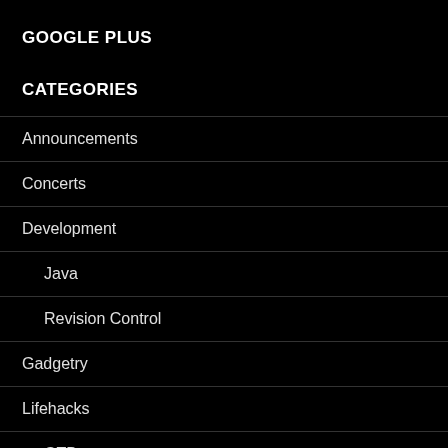GOOGLE PLUS
CATEGORIES
Announcements
Concerts
Development
Java
Revision Control
Gadgetry
Lifehacks
GTD